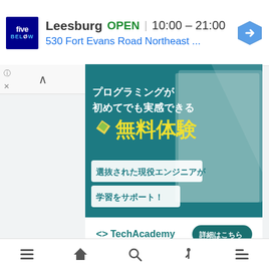[Figure (screenshot): Five Below store ad banner showing Leesburg location OPEN 10:00-21:00, 530 Fort Evans Road Northeast, with navigation arrow]
[Figure (infographic): TechAcademy Japanese language advertisement. Text reads: プログラミングが初めてでも実感できる 無料体験 (Free trial even for programming beginners) 選抜された現役エンジニアが学習をサポート！ (Selected active engineers support your learning!) with TechAcademy logo and 詳細はこちら (More details here) button. Features woman using laptop.]
Navigation bar with menu, home, search, share, and list icons